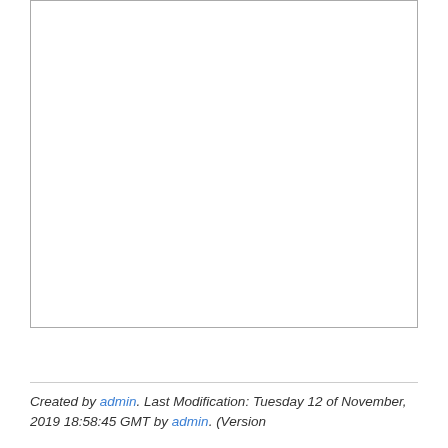[Figure (other): Blank white rectangle with grey border, representing an empty content area or placeholder image.]
Created by admin. Last Modification: Tuesday 12 of November, 2019 18:58:45 GMT by admin. (Version